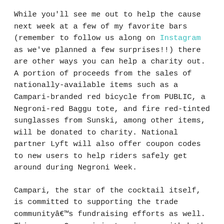While you'll see me out to help the cause next week at a few of my favorite bars (remember to follow us along on Instagram as we've planned a few surprises!!) there are other ways you can help a charity out. A portion of proceeds from the sales of nationally-available items such as a Campari-branded red bicycle from PUBLIC, a Negroni-red Baggu tote, and fire red-tinted sunglasses from Sunski, among other items, will be donated to charity. National partner Lyft will also offer coupon codes to new users to help riders safely get around during Negroni Week.
Campari, the star of the cocktail itself, is committed to supporting the trade communityâ€™s fundraising efforts as well. This year, Campari is teaming up with both the U.S. Bartendersâ€™ Guild (USBG), as well as SHARE â€“ a giving side community that offer...